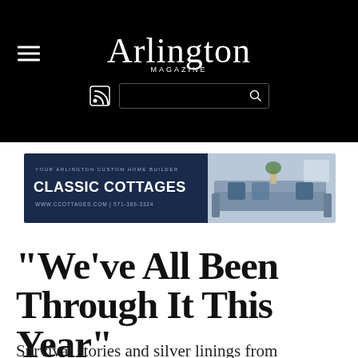Arlington MAGAZINE
[Figure (screenshot): Classic Cottages advertisement banner: dark navy left panel with text 'YOUR ARLINGTON CUSTOM HOME BUILDER', 'CLASSIC COTTAGES', 'WWW.CCOTTAGES.COM | 571-366-3324', and right panel showing a living room with blue cushioned sofa and pillows]
“We’ve All Been Through It This Year”
Survival stories and silver linings from